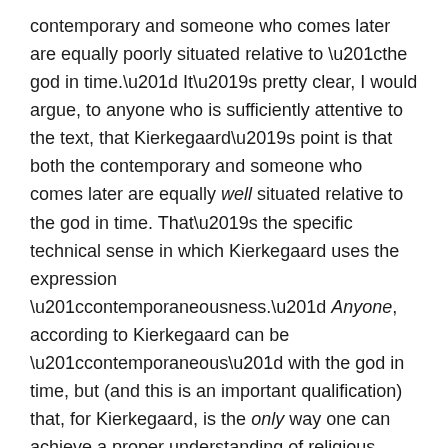contemporary and someone who comes later are equally poorly situated relative to “the god in time.” It’s pretty clear, I would argue, to anyone who is sufficiently attentive to the text, that Kierkegaard’s point is that both the contemporary and someone who comes later are equally well situated relative to the god in time. That’s the specific technical sense in which Kierkegaard uses the expression “contemporaneousness.” Anyone, according to Kierkegaard can be “contemporaneous” with the god in time, but (and this is an important qualification) that, for Kierkegaard, is the only way one can achieve a proper understanding of religious truth.
Fehir is a religious pluralist. Kierkegaard was not a